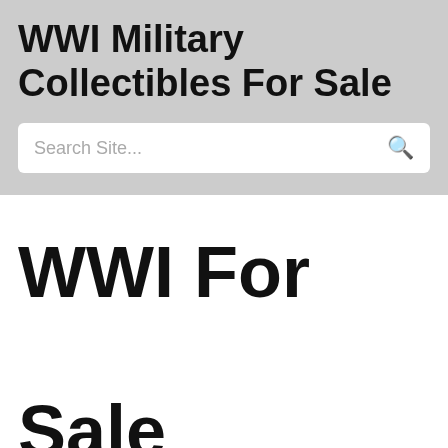WWI Military Collectibles For Sale
[Figure (other): Search site input box with placeholder text 'Search Site...' and a search icon on the right]
WWI For Sale